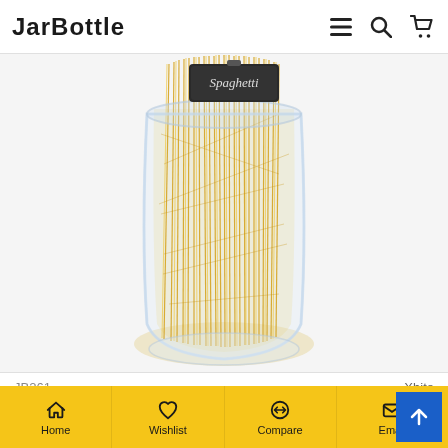JarBottle — navigation with search and cart icons
[Figure (photo): A glass jar filled with dry spaghetti pasta, with a chalkboard label reading 'Spaghetti', shown on a white background.]
JB261    Xbite
2.2L Clip Top Spaghetti Storage Jar | Round Glass Airtight Vintage Tall Container | Pasta & Cereal Jar | Dry Food Containers | M&W
Home  Wishlist  Compare  Email